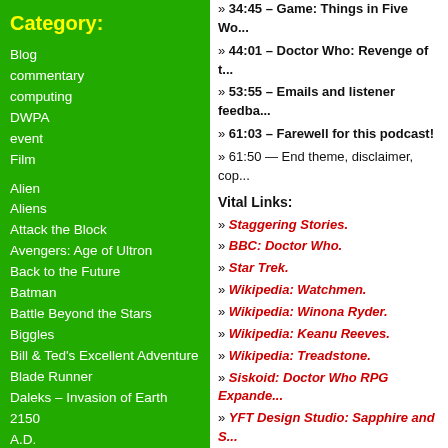Category:
Blog
commentary
computing
DWPA
event
Film
Alien
Aliens
Attack the Block
Avengers: Age of Ultron
Back to the Future
Batman
Battle Beyond the Stars
Biggles
Bill & Ted's Excellent Adventure
Blade Runner
Daleks – Invasion of Earth 2150 A.D.
Dark Star
Deadpool
Dune
E.T. the Extra-Terrestrial
Enola Holmes
» 34:45 – Game: Things in Five Wo...
» 44:01 – Doctor Who: Revenge of t...
» 53:55 – Emails and listener feedba...
» 61:03 – Farewell for this podcast!
» 61:50 — End theme, disclaimer, cop...
Vital Links:
» Staggering Stories.
» BBC: Doctor Who.
» Star Trek.
» Wikipedia: Watchmen.
» Wikipedia: Winona Ryder.
» Wikipedia: Keanu Reeves.
» Wikipedia: Treadstone.
» Siskoid: Doctor Who RPG Expande...
» YFT Design Studio: Sapphire and S...
» YFT Design Studio: Red Dwarf insp...
» Big Finish: Star Cops – Mother Eart...